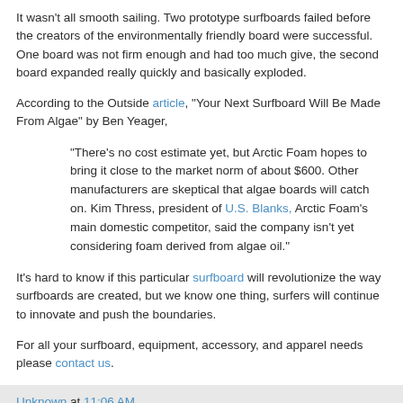It wasn't all smooth sailing. Two prototype surfboards failed before the creators of the environmentally friendly board were successful. One board was not firm enough and had too much give, the second board expanded really quickly and basically exploded.
According to the Outside article, "Your Next Surfboard Will Be Made From Algae" by Ben Yeager,
"There's no cost estimate yet, but Arctic Foam hopes to bring it close to the market norm of about $600. Other manufacturers are skeptical that algae boards will catch on. Kim Thress, president of U.S. Blanks, Arctic Foam’s main domestic competitor, said the company isn't yet considering foam derived from algae oil."
It's hard to know if this particular surfboard will revolutionize the way surfboards are created, but we know one thing, surfers will continue to innovate and push the boundaries.
For all your surfboard, equipment, accessory, and apparel needs please contact us.
Unknown at 11:06 AM
No comments: